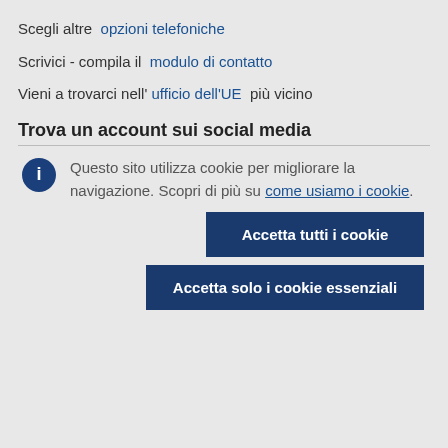Scegli altre opzioni telefoniche
Scrivici - compila il modulo di contatto
Vieni a trovarci nell' ufficio dell'UE più vicino
Trova un account sui social media
Questo sito utilizza cookie per migliorare la navigazione. Scopri di più su come usiamo i cookie.
Accetta tutti i cookie
Accetta solo i cookie essenziali